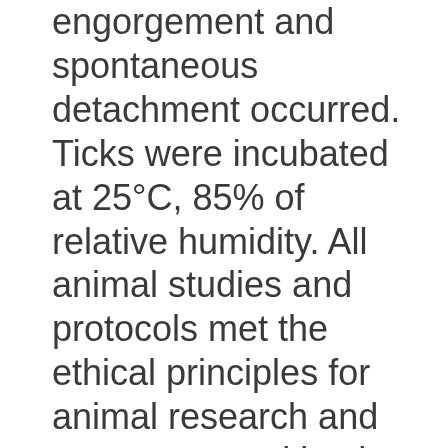engorgement and spontaneous detachment occurred. Ticks were incubated at 25°C, 85% of relative humidity. All animal studies and protocols met the ethical principles for animal research and were approved by the Chonbuk National University Animal Care and User Committee (CBNU 2015-003).